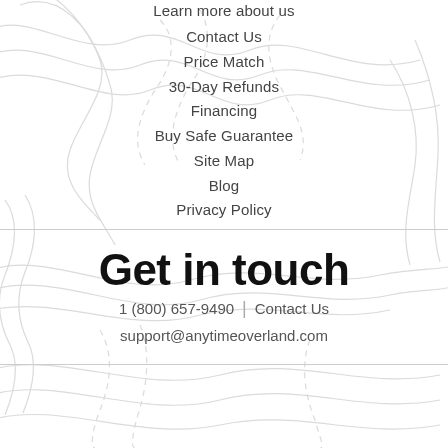Learn more about us
Contact Us
Price Match
30-Day Refunds
Financing
Buy Safe Guarantee
Site Map
Blog
Privacy Policy
Get in touch
1 (800) 657-9490  |  Contact Us
support@anytimeoverland.com